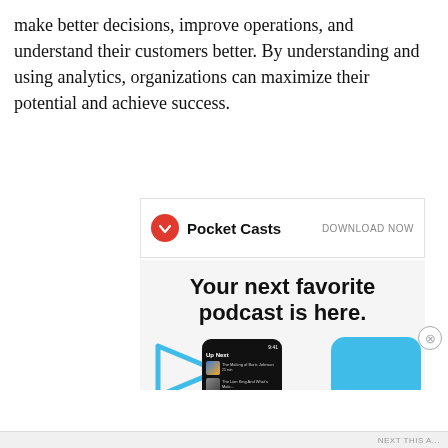make better decisions, improve operations, and understand their customers better. By understanding and using analytics, organizations can maximize their potential and achieve success.
[Figure (infographic): Pocket Casts podcast app advertisement. Header reads 'Your next favorite podcast is here.' with smartphone mockups showing the Pocket Casts app interface with podcast listings including 'The Making of Boris Johnson' and 'The Lion King And What's Maki...']
[Figure (infographic): ULTA Beauty advertisement banner with beauty/makeup product images and 'SHOP NOW' call to action.]